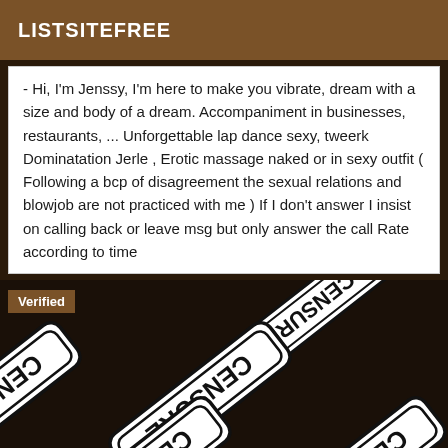LISTSITEFREE
- Hi, I'm Jenssy, I'm here to make you vibrate, dream with a size and body of a dream. Accompaniment in businesses, restaurants, ... Unforgettable lap dance sexy, tweerk Dominatation Jerle , Erotic massage naked or in sexy outfit ( Following a bcp of disagreement the sexual relations and blowjob are not practiced with me ) If I don't answer I insist on calling back or leave msg but only answer the call Rate according to time
[Figure (photo): Censored image showing multiple overlapping black and white 'CENSURE' sticker labels on a dark background, with a 'Verified' badge overlay in the top left corner.]